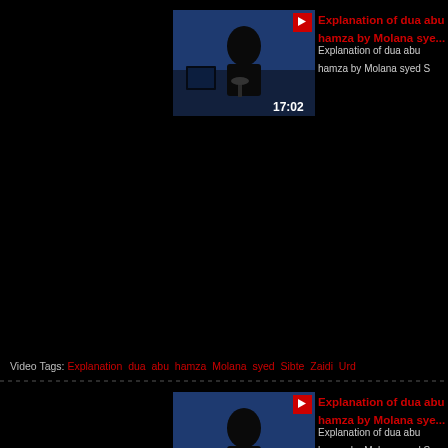[Figure (screenshot): Video thumbnail showing a man in black clerical robes at a podium, with a blue background, red bookmark icon top-right, duration 17:02 bottom-right]
Explanation of dua abu hamza by Molana sye...
Explanation of dua abu hamza by Molana syed S...
Video Tags: Explanation dua abu hamza Molana syed Sibte Zaidi Urd...
[Figure (screenshot): Video thumbnail showing a man in black clerical robes at a podium, with a blue background, red bookmark icon top-right, duration 18:56 bottom-right]
Explanation of dua abu hamza by Molana sye...
Explanation of dua abu hamza by Molana syed S...
Video Tags: Explanation dua abu hamza Molana syed Sibte Zaidi
[Figure (screenshot): Video thumbnail showing a painting/illustration with a red bookmark icon, partially visible]
تفسیر بصیرت Explanation on Insight - Farsi
Explanation on Insight - Farsi...